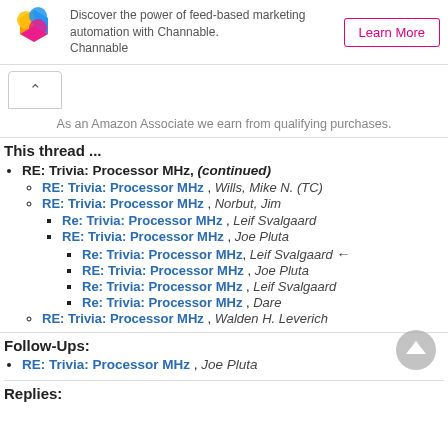[Figure (logo): Channable logo with colorful hexagonal shapes]
Discover the power of feed-based marketing automation with Channable. Channable
Learn More
As an Amazon Associate we earn from qualifying purchases.
This thread ...
RE: Trivia: Processor MHz, (continued)
RE: Trivia: Processor MHz , Wills, Mike N. (TC)
RE: Trivia: Processor MHz , Norbut, Jim
Re: Trivia: Processor MHz , Leif Svalgaard
RE: Trivia: Processor MHz , Joe Pluta
Re: Trivia: Processor MHz, Leif Svalgaard ←
RE: Trivia: Processor MHz , Joe Pluta
Re: Trivia: Processor MHz , Leif Svalgaard
Re: Trivia: Processor MHz , Dare
RE: Trivia: Processor MHz , Walden H. Leverich
Follow-Ups:
RE: Trivia: Processor MHz , Joe Pluta
Replies: